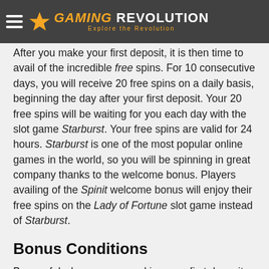Gaming Revolution — Explore the Revolution
After you make your first deposit, it is then time to avail of the incredible free spins. For 10 consecutive days, you will receive 20 free spins on a daily basis, beginning the day after your first deposit. Your 20 free spins will be waiting for you each day with the slot game Starburst. Your free spins are valid for 24 hours. Starburst is one of the most popular online games in the world, so you will be spinning in great company thanks to the welcome bonus. Players availing of the Spinit welcome bonus will enjoy their free spins on the Lady of Fortune slot game instead of Starburst.
Bonus Conditions
Be careful when you are making your first deposit with Spinit as deposits made via Neteller or Skrill are not eligible for the welcome offer. The minimum deposit amount for each of your four deposits is £$€10 in order to receive your Spinit welcome bonus. You will also need to wager any bonus you receive 40 times before it will be